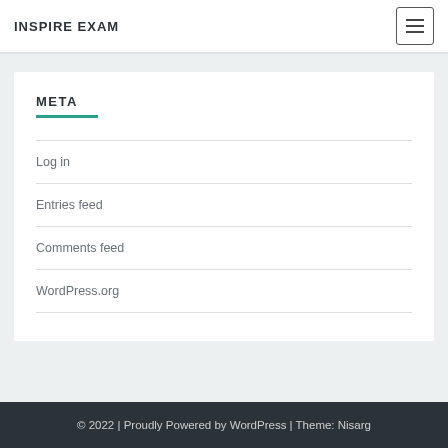INSPIRE EXAM
META
Log in
Entries feed
Comments feed
WordPress.org
© 2022 | Proudly Powered by WordPress | Theme: Nisarg